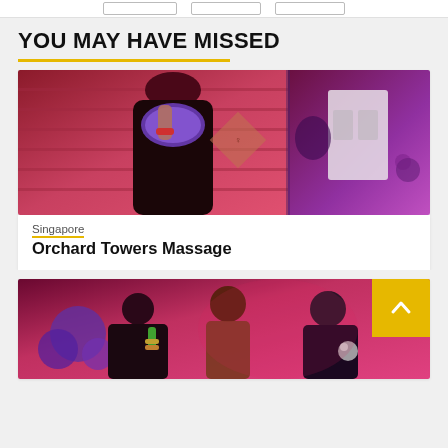YOU MAY HAVE MISSED
[Figure (photo): A woman holding a sparkly purple mask over her face in a pink-lit room, with another room visible on the right side]
Singapore
Orchard Towers Massage
[Figure (photo): People at what appears to be a nightclub or party, with purple and pink lighting]